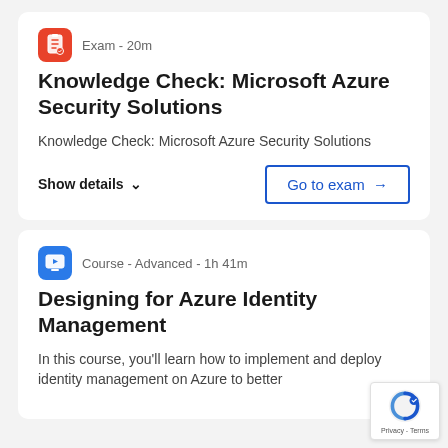Exam - 20m
Knowledge Check: Microsoft Azure Security Solutions
Knowledge Check: Microsoft Azure Security Solutions
Show details  ∨
Go to exam →
Course - Advanced - 1h 41m
Designing for Azure Identity Management
In this course, you'll learn how to implement and deploy identity management on Azure to better